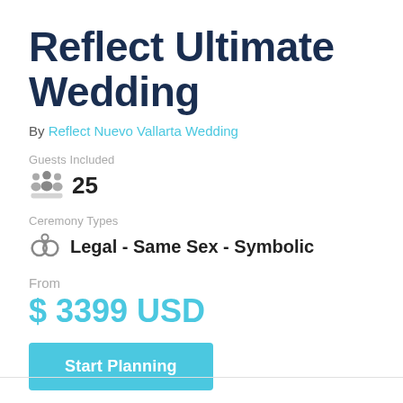Reflect Ultimate Wedding
By Reflect Nuevo Vallarta Wedding
Guests Included
25
Ceremony Types
Legal - Same Sex - Symbolic
From
$ 3399 USD
Start Planning